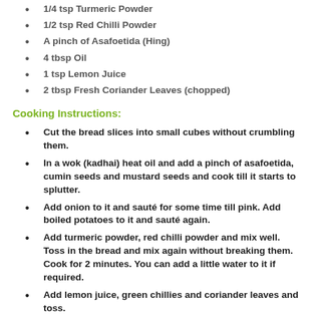1/4 tsp Turmeric Powder
1/2 tsp Red Chilli Powder
A pinch of Asafoetida (Hing)
4 tbsp Oil
1 tsp Lemon Juice
2 tbsp Fresh Coriander Leaves (chopped)
Cooking Instructions:
Cut the bread slices into small cubes without crumbling them.
In a wok (kadhai) heat oil and add a pinch of asafoetida, cumin seeds and mustard seeds and cook till it starts to splutter.
Add onion to it and sauté for some time till pink. Add boiled potatoes to it and sauté again.
Add turmeric powder, red chilli powder and mix well. Toss in the bread and mix again without breaking them. Cook for 2 minutes. You can add a little water to it if required.
Add lemon juice, green chillies and coriander leaves and toss.